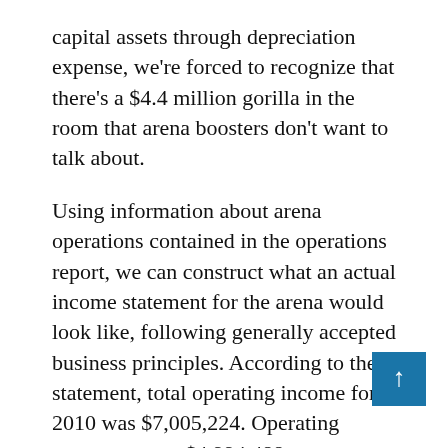capital assets through depreciation expense, we're forced to recognize that there's a $4.4 million gorilla in the room that arena boosters don't want to talk about.
Using information about arena operations contained in the operations report, we can construct what an actual income statement for the arena would look like, following generally accepted business principles. According to the statement, total operating income for 2010 was $7,005,224. Operating expenses were $4,994,488. Subtracting gi figure of $2,010,736. This number, howe not labeled a profit in the report. Instead, the not call it “I net to t i i